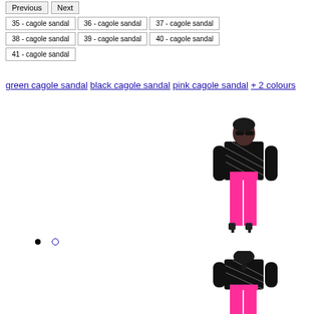Previous
Next
35 - cagole sandal
36 - cagole sandal
37 - cagole sandal
38 - cagole sandal
39 - cagole sandal
40 - cagole sandal
41 - cagole sandal
green cagole sandal black cagole sandal pink cagole sandal + 2 colours
[Figure (photo): Fashion model (front view) wearing black patterned long-sleeve top, pink skin-tight pants, and black heels against white background]
[Figure (photo): Fashion model (back view) wearing black patterned long-sleeve top and pink pants against white background]